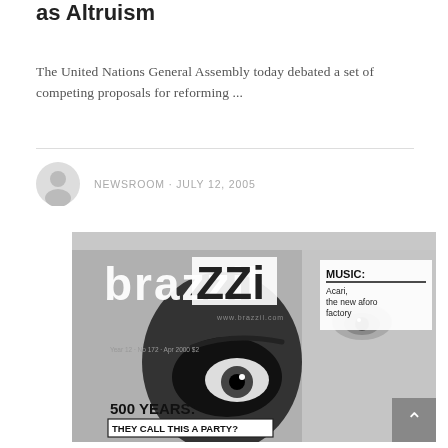as Altruism
The United Nations General Assembly today debated a set of competing proposals for reforming ...
NEWSROOM · JULY 12, 2005
[Figure (photo): Cover of Brazzil magazine. Black and white close-up of a face (eye prominent). Large text reads 'brazzil' with 'www.brazzil.com' below. Sidebar text: 'MUSIC: Acari, the new aforo factory'. Bottom text: '500 YEARS: THEY CALL THIS A PARTY?' Year label: Year 12 · No 172 · Apr 2000.]